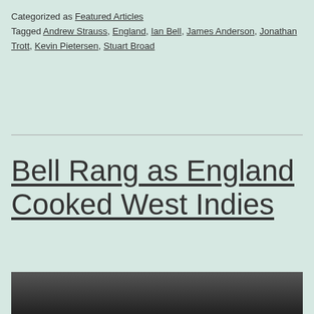Categorized as Featured Articles
Tagged Andrew Strauss, England, Ian Bell, James Anderson, Jonathan Trott, Kevin Pietersen, Stuart Broad
Bell Rang as England Cooked West Indies
[Figure (photo): Photo of a person at the bottom of the page, partially visible]